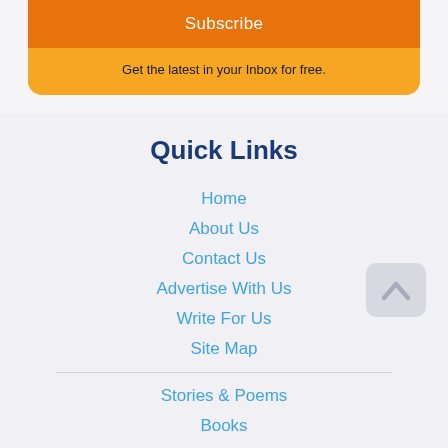Subscribe
Get the latest in your Inbox for free.
Quick Links
Home
About Us
Contact Us
Advertise With Us
Write For Us
Site Map
Stories & Poems
Books
Learn
Videos